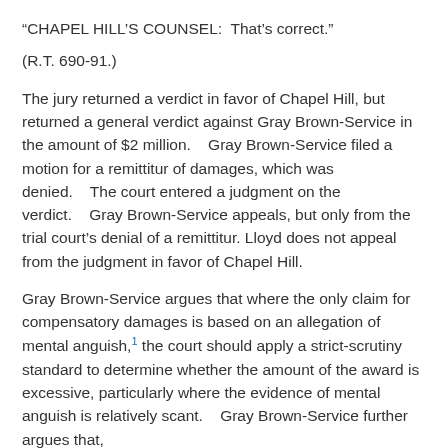“CHAPEL HILL’S COUNSEL:  That’s correct.”
(R.T. 690-91.)
The jury returned a verdict in favor of Chapel Hill, but returned a general verdict against Gray Brown-Service in the amount of $2 million.    Gray Brown-Service filed a motion for a remittitur of damages, which was denied.    The court entered a judgment on the verdict.    Gray Brown-Service appeals, but only from the trial court’s denial of a remittitur. Lloyd does not appeal from the judgment in favor of Chapel Hill.
Gray Brown-Service argues that where the only claim for compensatory damages is based on an allegation of mental anguish,¹ the court should apply a strict-scrutiny standard to determine whether the amount of the award is excessive, particularly where the evidence of mental anguish is relatively scant.    Gray Brown-Service further argues that,